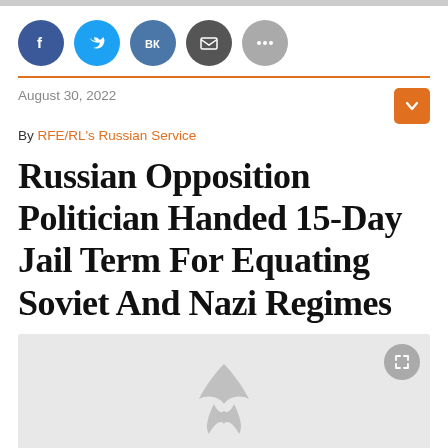[Figure (other): Social sharing icons: Facebook, Twitter, VK, Email, More]
August 30, 2022
By RFE/RL's Russian Service
Russian Opposition Politician Handed 15-Day Jail Term For Equating Soviet And Nazi Regimes
[Figure (photo): Placeholder image with RFE/RL watermark logo (gray leaf icon on light gray background)]